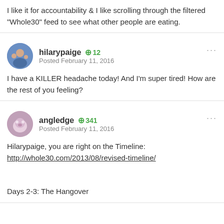I like it for accountability & I like scrolling through the filtered "Whole30" feed to see what other people are eating.
hilarypaige +12 Posted February 11, 2016
I have a KILLER headache today! And I'm super tired! How are the rest of you feeling?
angledge +341 Posted February 11, 2016
Hilarypaige, you are right on the Timeline: http://whole30.com/2013/08/revised-timeline/

Days 2-3: The Hangover